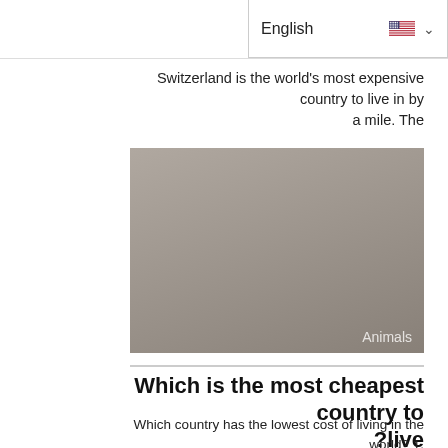?in t English
Switzerland is the world’s most expensive country to live in by a mile. The
[Figure (photo): Gray image placeholder with 'Animals' label in bottom right corner]
Which is the most cheapest country to ?live
Which country has the lowest cost of living in the world? 1. Windhoek, Namibia
[Figure (photo): Gray image placeholder at bottom of page (partially visible)]